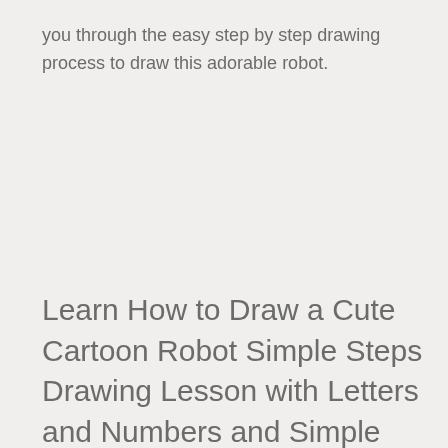you through the easy step by step drawing process to draw this adorable robot.
Learn How to Draw a Cute Cartoon Robot Simple Steps Drawing Lesson with Letters and Numbers and Simple Shapes for Kids and Beginners